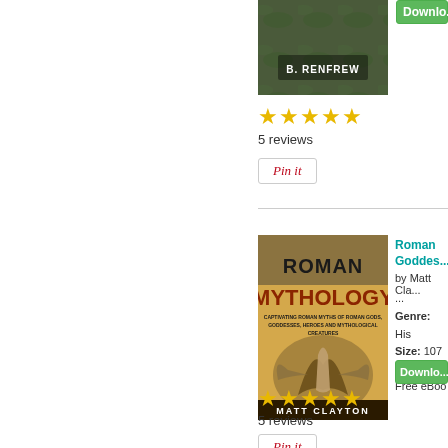[Figure (photo): Book cover with author name B. RENFREW and dark/nature imagery, partially visible at top]
[Figure (other): Download button (green) partially cropped at top right]
★★★★★
5 reviews
Pin it
[Figure (photo): Roman Mythology book cover by Matt Clayton showing figure with wings, golden/brown tones. Text: ROMAN MYTHOLOGY, CAPTIVATING ROMAN MYTHS OF ROMAN GODS, GODDESSES, HEROES AND MYTHOLOGICAL CREATURES]
Roman Mythology: Gods and Goddes...
by Matt Cla...
...
Genre: His... Size: 107 p... Free eBoo...
[Figure (other): Download button (green), partially cropped]
★★★★★
5 reviews
Pin it